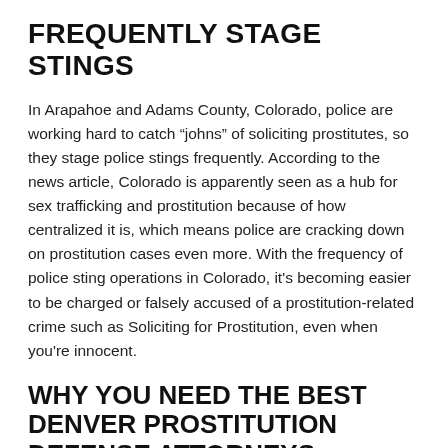FREQUENTLY STAGE STINGS
In Arapahoe and Adams County, Colorado, police are working hard to catch “johns” of soliciting prostitutes, so they stage police stings frequently. According to the news article, Colorado is apparently seen as a hub for sex trafficking and prostitution because of how centralized it is, which means police are cracking down on prostitution cases even more. With the frequency of police sting operations in Colorado, it's becoming easier to be charged or falsely accused of a prostitution-related crime such as Soliciting for Prostitution, even when you're innocent.
WHY YOU NEED THE BEST DENVER PROSTITUTION DEFENSE ATTORNEYS
Soliciting for Prostitution in Denver and Jefferson County